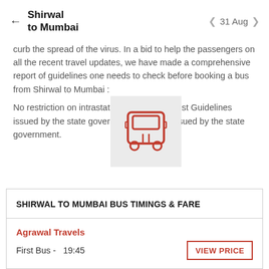← Shirwal to Mumbai   < 31 Aug >
curb the spread of the virus. In a bid to help the passengers on all the recent travel updates, we have made a comprehensive report of guidelines one needs to check before booking a bus from Shirwal to Mumbai :
No restriction on intrastate travel as per latest Guidelines issued by the state govenment.
No restriction as per latest Guidelines issued by the state government.
[Figure (illustration): Red bus icon on a light grey square background, overlapping the text area]
SHIRWAL TO MUMBAI BUS TIMINGS & FARE
Agrawal Travels
First Bus -   19:45
VIEW PRICE